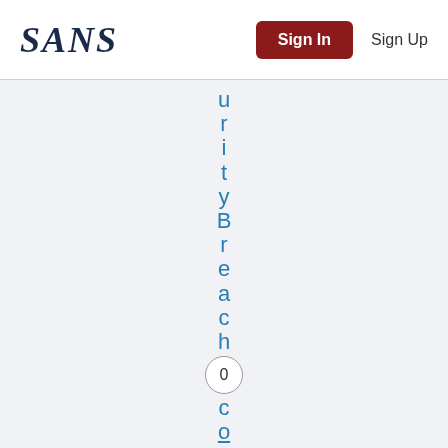SANS | Sign In | Sign Up
urityBreach 0 comm…